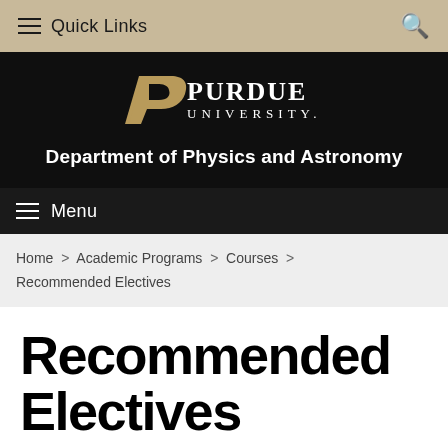Quick Links
[Figure (logo): Purdue University logo with stylized P and text PURDUE UNIVERSITY]
Department of Physics and Astronomy
Menu
Home > Academic Programs > Courses > Recommended Electives
Recommended Electives